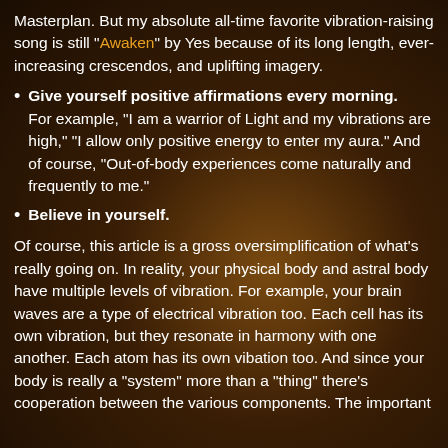Masterplan. But my absolute all-time favorite vibration-raising song is still "Awaken" by Yes because of its long length, ever-increasing crescendos, and uplifting imagery.
Give yourself positive affirmations every morning. For example, "I am a warrior of Light and my vibrations are high," "I allow only positive energy to enter my aura." And of course, "Out-of-body experiences come naturally and frequently to me."
Believe in yourself.
Of course, this article is a gross oversimplification of what's really going on. In reality, your physical body and astral body have multiple levels of vibration. For example, your brain waves are a type of electrical vibration too. Each cell has its own vibration, but they resonate in harmony with one another. Each atom has its own vibation too. And since your body is really a "system" more than a "thing" there's cooperation between the various components. The important